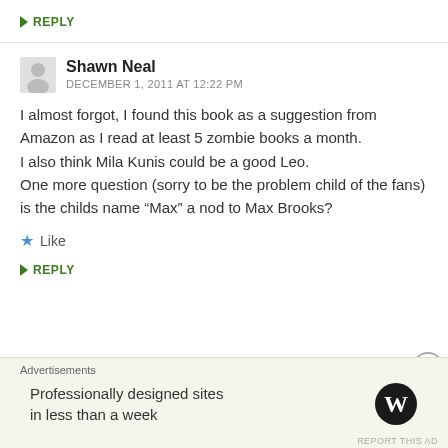REPLY
Shawn Neal
DECEMBER 1, 2011 AT 12:22 PM
I almost forgot, I found this book as a suggestion from Amazon as I read at least 5 zombie books a month.
I also think Mila Kunis could be a good Leo.
One more question (sorry to be the problem child of the fans) is the childs name “Max” a nod to Max Brooks?
Like
REPLY
Advertisements
Professionally designed sites in less than a week